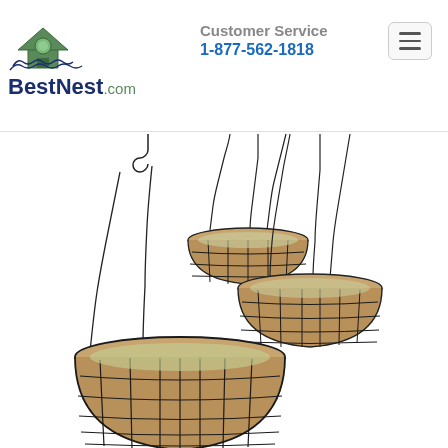[Figure (logo): BestNest.com logo with house/birdhouse icon in teal and blue]
Customer Service
1-877-562-1818
[Figure (other): Hamburger menu button (three horizontal lines in a rounded rectangle)]
[Figure (photo): Four metal wire hanging baskets with coir coconut fiber liners and plastic lining inserts, hanging by chains, arranged in a cascading composition on white background]